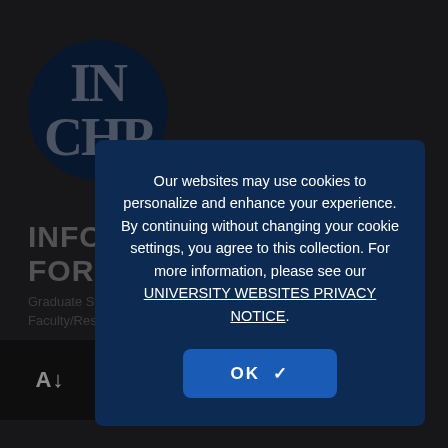[Figure (logo): InCHIP university logo — dark blue circle with overlapping serif letters IN and CHP in gray/silver on dark blue background]
INFORMATION FOR
Graduate Students
Faculty/Researchers
QUICK LINKS
Directions to InCHIP
InCHIP Director Office Hours
Our websites may use cookies to personalize and enhance your experience. By continuing without changing your cookie settings, you agree to this collection. For more information, please see our UNIVERSITY WEBSITES PRIVACY NOTICE.
OK ✓